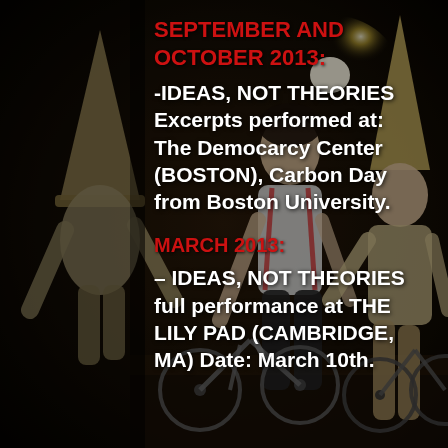[Figure (photo): Dark background photo of performers in costume (dunce hats, clown-like outfits) with bicycles on a stage with a bright spotlight in the background.]
SEPTEMBER AND OCTOBER 2013:
-IDEAS, NOT THEORIES Excerpts performed at: The Democarcy Center (BOSTON), Carbon Day from Boston University.
MARCH 2013:
– IDEAS, NOT THEORIES full performance at THE LILY PAD (CAMBRIDGE, MA) Date: March 10th.